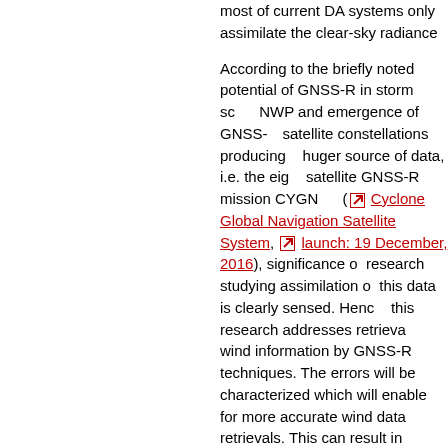most of current DA systems only assimilate the clear-sky radiance According to the briefly noted potential of GNSS-R in storm scale NWP and emergence of GNSS-R satellite constellations producing a huger source of data, i.e. the eight satellite GNSS-R mission CYGNSS ( [ext] Cyclone Global Navigation Satellite System, [ext] launch: 19 December, 2016), significance of research studying assimilation of this data is clearly sensed. Hence, this research addresses retrievals of wind information by GNSS-R techniques. The errors will be characterized which will enable for more accurate wind data retrievals. This can result in resolving and accurately predicting atmospheric events on storm scales. In addition, we will evaluate GNSS-R data assimilation effects on storm predictions. These